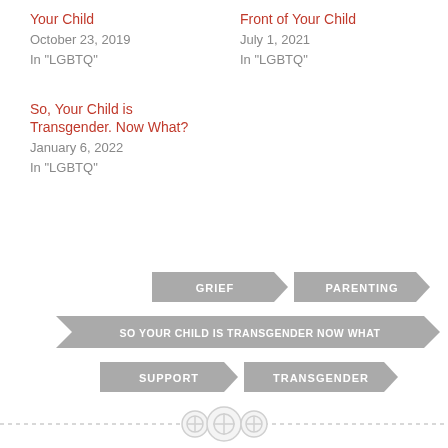Your Child
October 23, 2019
In "LGBTQ"
Front of Your Child
July 1, 2021
In "LGBTQ"
So, Your Child is Transgender. Now What?
January 6, 2022
In "LGBTQ"
[Figure (infographic): Tag/arrow shaped labels in gray: GRIEF, PARENTING, SO YOUR CHILD IS TRANSGENDER NOW WHAT, SUPPORT, TRANSGENDER]
[Figure (other): Decorative divider with dashed line and three circular button icons]